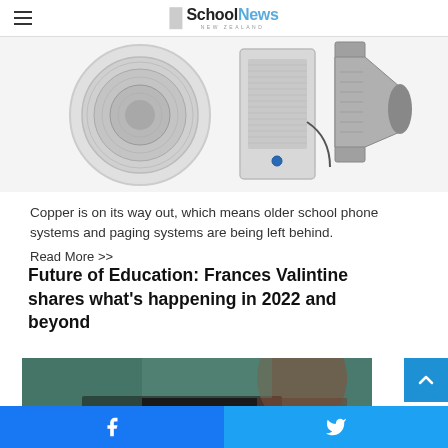School News New Zealand
[Figure (photo): Three speaker/PA system products shown side by side: a round flush-mount ceiling speaker, a rectangular wall-mount intercom speaker, and a directional horn speaker]
Copper is on its way out, which means older school phone systems and paging systems are being left behind.
Read More >>
Future of Education: Frances Valintine shares what's happening in 2022 and beyond
[Figure (photo): Partial photo of a person using a laptop or tablet at a desk, blurred background with teal/green tones]
Facebook share button | Twitter share button